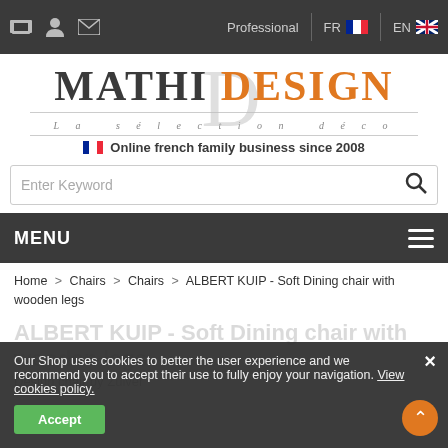Professional | FR | EN
[Figure (logo): Mathi Design logo with large 'D' watermark, orange DESIGN text, tagline 'La sélection déco', and French flag with 'Online french family business since 2008']
Enter Keyword
MENU
Home > Chairs > Chairs > ALBERT KUIP - Soft Dining chair with wooden legs
ALBERT KUIP - Soft Dining chair with wooden legs
Design chair by Zuiver
Our Shop uses cookies to better the user experience and we recommend you to accept their use to fully enjoy your navigation. View cookies policy.